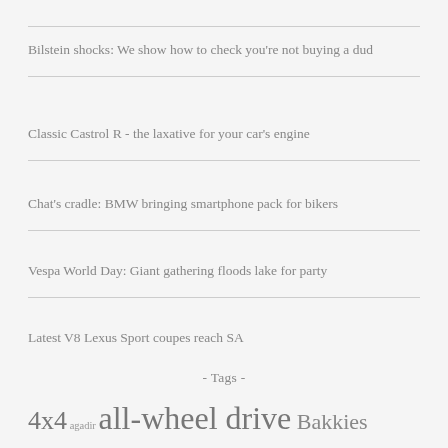Bilstein shocks: We show how to check you're not buying a dud
Classic Castrol R - the laxative for your car's engine
Chat's cradle: BMW bringing smartphone pack for bikers
Vespa World Day: Giant gathering floods lake for party
Latest V8 Lexus Sport coupes reach SA
- Tags -
4x4 agadir all-wheel drive Bakkies Battery Cars BMW fabric classics concept cars convertible